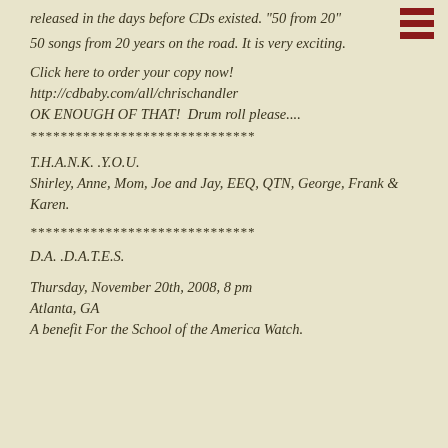released in the days before CDs existed. "50 from 20"
50 songs from 20 years on the road. It is very exciting.
Click here to order your copy now!
http://cdbaby.com/all/chrischandler
OK ENOUGH OF THAT! Drum roll please....
******************************
T.H.A.N.K. .Y.O.U.
Shirley, Anne, Mom, Joe and Jay, EEQ, QTN, George, Frank & Karen.
******************************
D.A. .D.A.T.E.S.
Thursday, November 20th, 2008, 8 pm
Atlanta, GA
A benefit For the School of the America Watch.